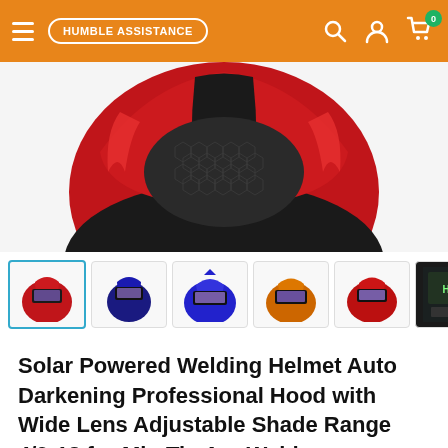HUMBLE ASSISTANCE — navigation bar with hamburger menu, search, account, and cart icons
[Figure (photo): Close-up of a red and black solar-powered auto-darkening welding helmet with honeycomb mesh design]
[Figure (photo): Thumbnail strip showing 7 welding helmet variants: red/black, blue/black, large blue, orange, red/black sport, and two product spec images]
Solar Powered Welding Helmet Auto Darkening Professional Hood with Wide Lens Adjustable Shade Range 4/9-13 for Mig Tig Arc Weld